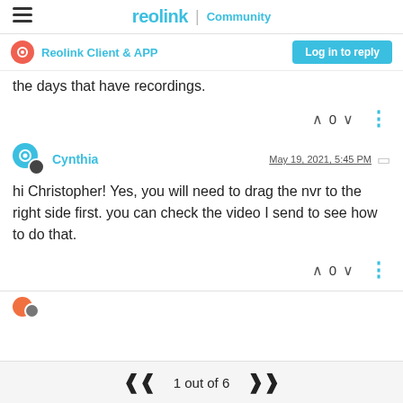reolink Community
Reolink Client & APP
the days that have recordings.
Cynthia  May 19, 2021, 5:45 PM
hi Christopher! Yes, you will need to drag the nvr to the right side first. you can check the video I send to see how to do that.
1 out of 6